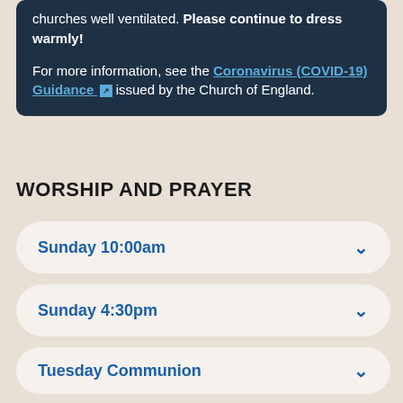churches well ventilated. Please continue to dress warmly! For more information, see the Coronavirus (COVID-19) Guidance issued by the Church of England.
WORSHIP AND PRAYER
Sunday 10:00am
Sunday 4:30pm
Tuesday Communion
Morning Prayer